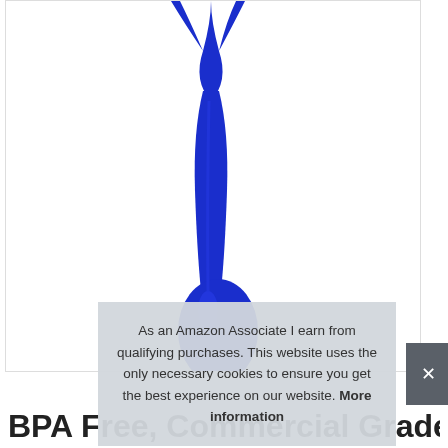[Figure (photo): A blue plastic kitchen/food service spoon or shovel-shaped utensil on a white background, shown from above with handle at top and bowl at bottom.]
As an Amazon Associate I earn from qualifying purchases. This website uses the only necessary cookies to ensure you get the best experience on our website. More information
BPA Free, Commercial Grade Kitchen